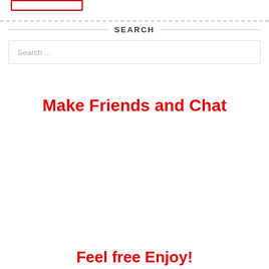SEARCH
Search …
Make Friends and Chat
Feel free Enjoy!